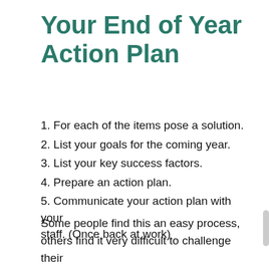Your End of Year Action Plan
1. For each of the items pose a solution.
2. List your goals for the coming year.
3. List your key success factors.
4. Prepare an action plan.
5. Communicate your action plan with your staff. (Once back at work)
Some people find this an easy process, others find it very difficult to challenge their own thinking and approach to business. If